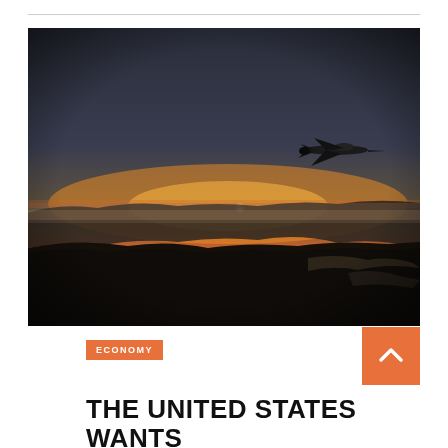[Figure (photo): Aerial photograph of a fighter jet silhouetted against a vivid orange and dark blue sunset sky, flying over a misty coastal landscape with mountains, water bodies, and low clouds visible below.]
ECONOMY
THE UNITED STATES WANTS